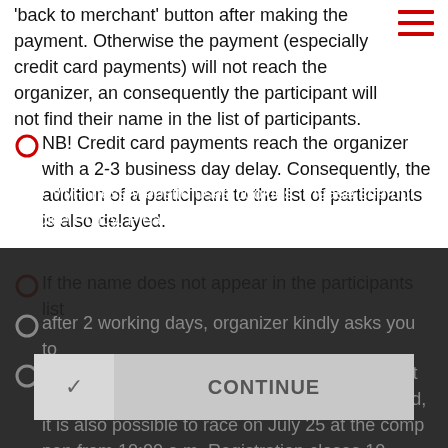'back to merchant' button after making the payment. Otherwise the payment (especially credit card payments) will not reach the organizer, and consequently the participant will not find their name in the list of participants.
NB! Credit card payments reach the organizer with a 2-3 business day delay. Consequently, the addition of a participant to the list of participants is also delayed.
If the name does not appear in the participants list after 2 working days, organizer kindly asks you to
Online registration ends Wednesday, July 22 at 11:59 p.m. After the online registration is closed, it is also possible to [register for] the race on July 25 at the competition [venue, open] from 10:00 a.m. Registration closes 10 minutes before the [start].
The MyFitness website uses cookies. Please see our Cookie Policy. Please read our Cookie Policy.